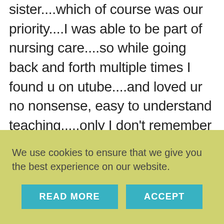sister....which of course was our priority....I was able to be part of nursing care....so while going back and forth multiple times I found u on utube....and loved ur no nonsense, easy to understand teaching....,only I don't remember well so I have to listen a few times ...I'm desperate to organized .. and crafting keeps me from going into depression .....but with out circumstances the floor wasn't done til day before Xmas and our place is small so we were thrown into plan F.....🙁..but we choose to go with we have each other and made it fun...
We use cookies to ensure that we give you the best experience on our website.